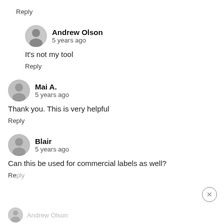Reply
Andrew Olson
5 years ago
It's not my tool
Reply
Mai A.
5 years ago
Thank you. This is very helpful
Reply
Blair
5 years ago
Can this be used for commercial labels as well?
Reply
Andrew Olson